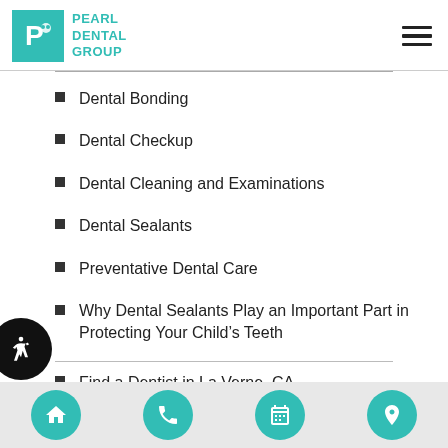PEARL DENTAL GROUP
Dental Bonding
Dental Checkup
Dental Cleaning and Examinations
Dental Sealants
Preventative Dental Care
Why Dental Sealants Play an Important Part in Protecting Your Child’s Teeth
Find a Dentist in La Verne, CA